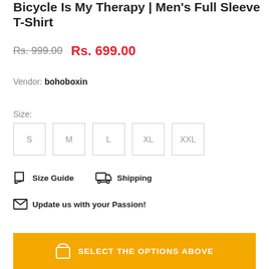Bicycle Is My Therapy | Men's Full Sleeve T-Shirt
Rs. 999.00  Rs. 699.00
Vendor: bohoboxin
Size:
S  M  L  XL  XXL
Size Guide  Shipping  Update us with your Passion!
SELECT THE OPTIONS ABOVE